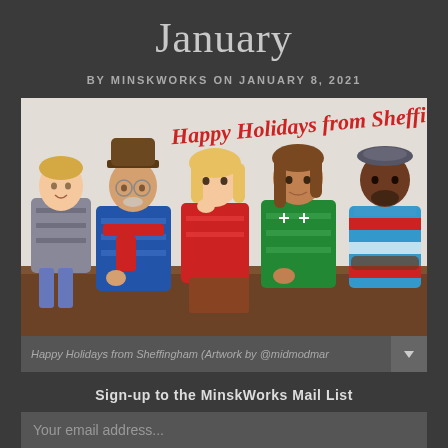January
BY MINSKWORKS ON JANUARY 8, 2021
[Figure (illustration): Holiday illustration showing five characters wearing Christmas/ugly sweaters sitting and standing. Text reads 'Happy Holidays from Sheffingham!' in red handwriting at the top. Characters include: a young blonde person in a grey patterned sweater, an older man with glasses and hat in a blue sweater with red scarf, a blonde woman in a red sweater, a person in a green Christmas sweater, and a dark-skinned person in a colorful sweater.]
Happy Holidays from Sheffingham (Artwork by @midmodmar
Sign-up to the MinskWorks Mail List
Your email address...
SUBSCRIBE